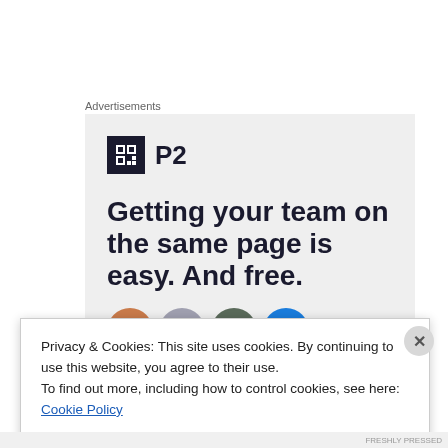Advertisements
[Figure (illustration): P2 advertisement banner with logo, headline 'Getting your team on the same page is easy. And free.' and user avatars at bottom]
Privacy & Cookies: This site uses cookies. By continuing to use this website, you agree to their use.
To find out more, including how to control cookies, see here: Cookie Policy
Close and accept